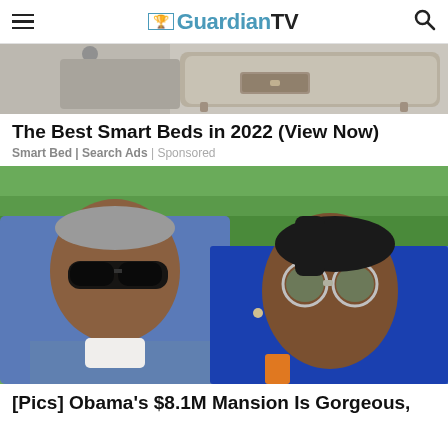GuardianTV
[Figure (photo): Partial view of a smart bed with a pull-out drawer, beige/tan color, on light background]
The Best Smart Beds in 2022 (View Now)
Smart Bed | Search Ads | Sponsored
[Figure (photo): Barack Obama and Michelle Obama outdoors wearing sunglasses, green trees in background]
[Pics] Obama's $8.1M Mansion Is Gorgeous,